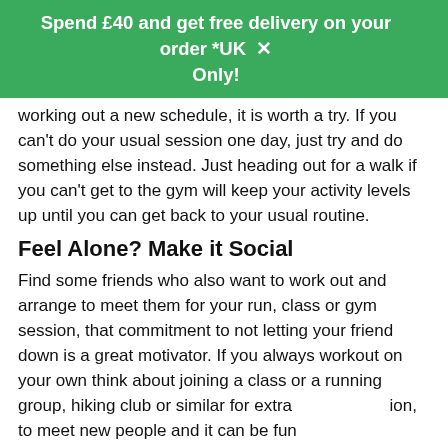Spend £40 and get free delivery on your order *UK Only! ✕
working out a new schedule, it is worth a try. If you can't do your usual session one day, just try and do something else instead. Just heading out for a walk if you can't get to the gym will keep your activity levels up until you can get back to your usual routine.
Feel Alone? Make it Social
Find some friends who also want to work out and arrange to meet them for your run, class or gym session, that commitment to not letting your friend down is a great motivator. If you always workout on your own think about joining a class or a running group, hiking club or similar for extra tion, to meet new people and it can be fun ushing you to work out a bit harder.
aking Progress?
Are you actually measuring progress and